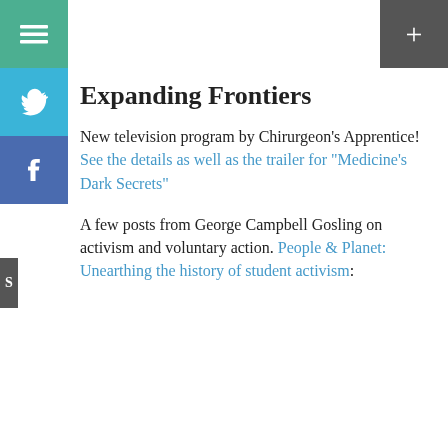[Figure (other): Green hamburger menu button (sidebar)]
[Figure (other): Blue Twitter bird icon button (sidebar)]
[Figure (other): Blue Facebook 'f' icon button (sidebar)]
[Figure (other): Dark grey plus button top right]
Expanding Frontiers
New television program by Chirurgeon’s Apprentice! See the details as well as the trailer for “Medicine’s Dark Secrets”
A few posts from George Campbell Gosling on activism and voluntary action. People & Planet: Unearthing the history of student activism:
Privacy & Cookies: This site uses cookies. By continuing to use this website, you agree to their use.
To find out more, including how to control cookies, see here:
Cookie Policy
Close and accept